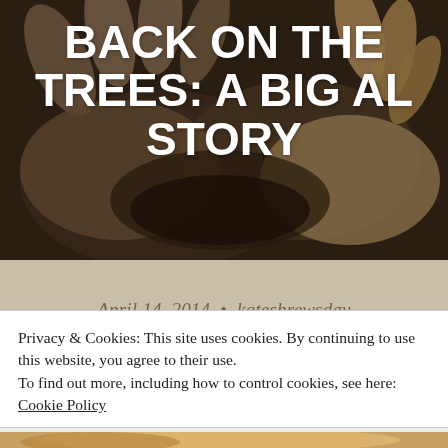[Figure (photo): Close-up photo of hands holding soil/earth, dark and gritty texture, serves as hero background image for a blog post]
BACK ON THE TREES: A BIG AL STORY
April 14, 2014  •  kateshrewsday
[Figure (photo): Photo of a child in a striped shirt outdoors in sunlight, hands visible]
Privacy & Cookies: This site uses cookies. By continuing to use this website, you agree to their use.
To find out more, including how to control cookies, see here: Cookie Policy
Close and accept
[Figure (photo): Partial photo visible at very bottom of page, appears to show hands]